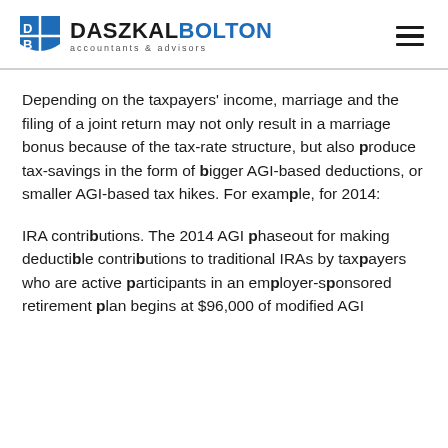DASZKAL BOLTON accountants & advisors
Depending on the taxpayers' income, marriage and the filing of a joint return may not only result in a marriage bonus because of the tax-rate structure, but also produce tax-savings in the form of bigger AGI-based deductions, or smaller AGI-based tax hikes. For example, for 2014:
IRA contributions. The 2014 AGI phaseout for making deductible contributions to traditional IRAs by taxpayers who are active participants in an employer-sponsored retirement plan begins at $96,000 of modified AGI